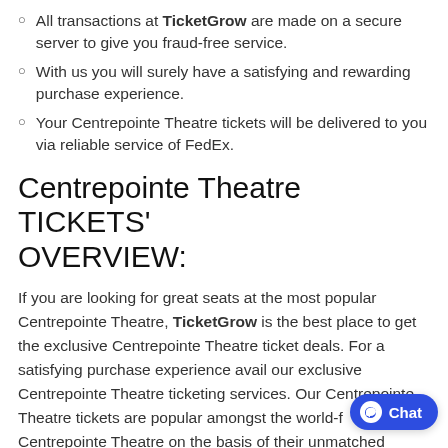All transactions at TicketGrow are made on a secure server to give you fraud-free service.
With us you will surely have a satisfying and rewarding purchase experience.
Your Centrepointe Theatre tickets will be delivered to you via reliable service of FedEx.
Centrepointe Theatre TICKETS' OVERVIEW:
If you are looking for great seats at the most popular Centrepointe Theatre, TicketGrow is the best place to get the exclusive Centrepointe Theatre ticket deals. For a satisfying purchase experience avail our exclusive Centrepointe Theatre ticketing services. Our Centrepointe Theatre tickets are popular amongst the world-f Centrepointe Theatre on the basis of their unmatched